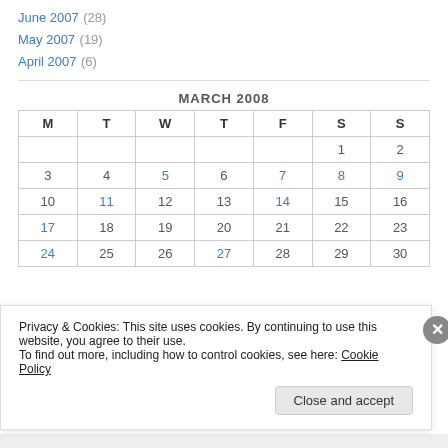June 2007 (28)
May 2007 (19)
April 2007 (6)
| M | T | W | T | F | S | S |
| --- | --- | --- | --- | --- | --- | --- |
|  |  |  |  |  | 1 | 2 |
| 3 | 4 | 5 | 6 | 7 | 8 | 9 |
| 10 | 11 | 12 | 13 | 14 | 15 | 16 |
| 17 | 18 | 19 | 20 | 21 | 22 | 23 |
| 24 | 25 | 26 | 27 | 28 | 29 | 30 |
Privacy & Cookies: This site uses cookies. By continuing to use this website, you agree to their use. To find out more, including how to control cookies, see here: Cookie Policy